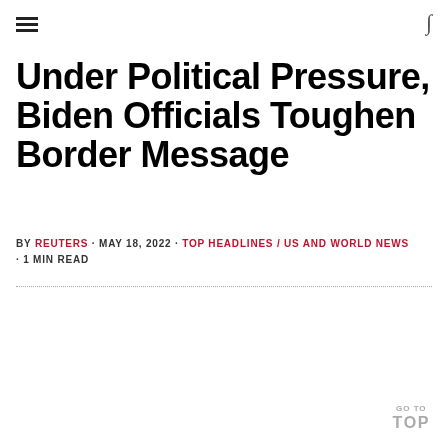≡  ∫
Under Political Pressure, Biden Officials Toughen Border Message
BY REUTERS · MAY 18, 2022 · TOP HEADLINES / US AND WORLD NEWS · 1 MIN READ
GO TO TOP